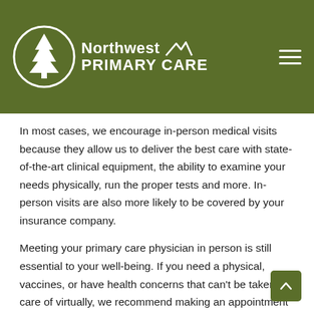[Figure (logo): Northwest Primary Care logo with tree/mountain icon on olive green header bar]
In most cases, we encourage in-person medical visits because they allow us to deliver the best care with state-of-the-art clinical equipment, the ability to examine your needs physically, run the proper tests and more. In-person visits are also more likely to be covered by your insurance company.
Meeting your primary care physician in person is still essential to your well-being. If you need a physical, vaccines, or have health concerns that can't be taken care of virtually, we recommend making an appointment with a doctor at their office as soon as you can.
NWPC Online Medical Services